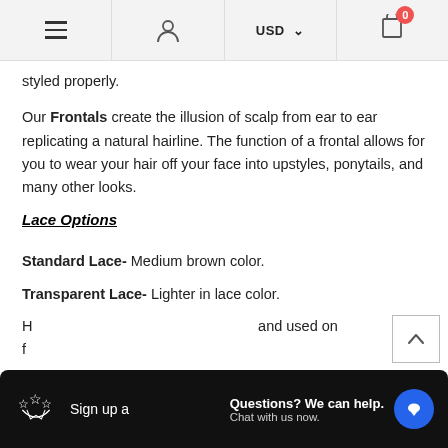Navigation bar with menu, user, USD currency selector, and cart (0 items)
styled properly.
Our Frontals create the illusion of scalp from ear to ear replicating a natural hairline. The function of a frontal allows for you to wear your hair off your face into upstyles, ponytails, and many other looks.
Lace Options
Standard Lace- Medium brown color.
Transparent Lace- Lighter in lace color.
H... and used on f...
[Figure (infographic): Dark overlay bar with stars/ribbon icon, 'Sign up a...' text, 'Questions? We can help. Chat with us now.' chat prompt, and blue chat bubble icon.]